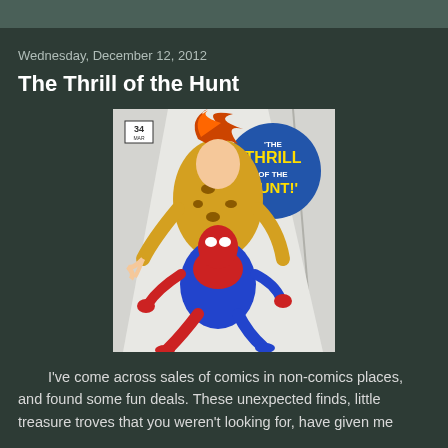Wednesday, December 12, 2012
The Thrill of the Hunt
[Figure (illustration): Comic book cover showing Spider-Man and a leopard-print villain with flaming red hair. Issue number 34 is shown. Text bubble reads 'THE THRILL OF THE HUNT!' in yellow letters on blue circle.]
I've come across sales of comics in non-comics places, and found some fun deals. These unexpected finds, little treasure troves that you weren't looking for, have given me